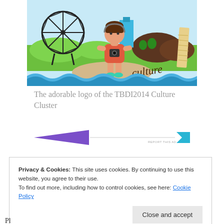[Figure (illustration): Illustrated character of a tourist person holding a camera, standing in front of a Ferris wheel (London Eye) and a tilted tower (Pisa), with green hills, trees, and wavy blue water at the bottom. The word 'culture' is written in cursive script on the right side.]
The adorable logo of the TBDI2014 Culture Cluster
[Figure (other): Advertisement banner with a purple triangular arrow shape on the left, a thin horizontal line in the middle, and a blue rhombus/flag shape on the right. Text reads 'REPORT THIS AD' in small caps near the right.]
Privacy & Cookies: This site uses cookies. By continuing to use this website, you agree to their use.
To find out more, including how to control cookies, see here: Cookie Policy
Close and accept
Pl...